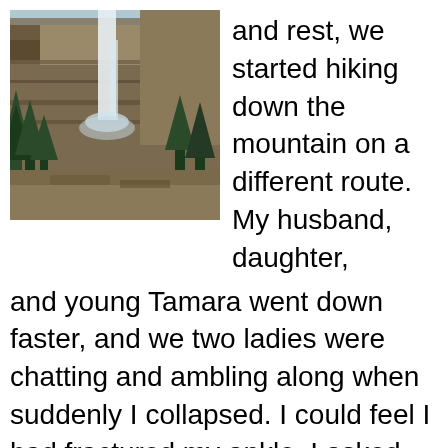[Figure (photo): A tall waterfall cascading down rocky cliffs with evergreen trees in the foreground]
and rest, we started hiking down the mountain on a different route.  My husband, daughter, and young Tamara went down faster, and we two ladies were chatting and ambling along when suddenly I collapsed.  I could feel I had fractured my ankle.  I asked my friend to tighten the laces on my hiking boot, picked up a branch and slowly, with excruciating pain, started the trek down.  There was